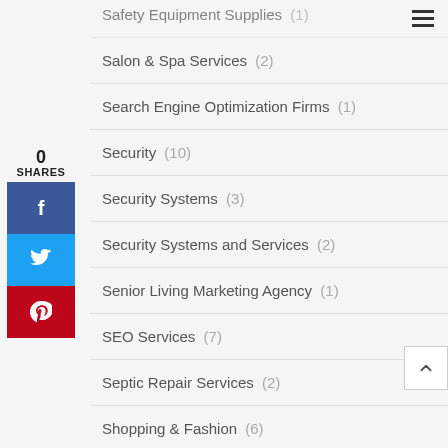Safety Equipment Supplies  (1)
Salon & Spa Services  (2)
Search Engine Optimization Firms  (1)
Security  (10)
Security Systems  (3)
Security Systems and Services  (2)
Senior Living Marketing Agency  (1)
SEO Services  (7)
Septic Repair Services  (2)
Shopping & Fashion  (6)